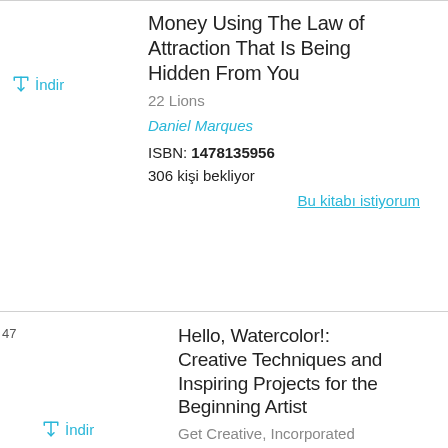Money Using The Law of Attraction That Is Being Hidden From You
22 Lions
Daniel Marques
ISBN: 1478135956
306 kişi bekliyor
Bu kitabı istiyorum
Hello, Watercolor!: Creative Techniques and Inspiring Projects for the Beginning Artist
Get Creative, Incorporated
Jeannie dickson
ISBN: 1684620023